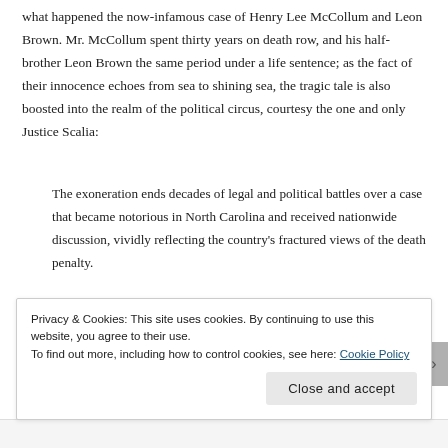what happened the now-infamous case of Henry Lee McCollum and Leon Brown. Mr. McCollum spent thirty years on death row, and his half-brother Leon Brown the same period under a life sentence; as the fact of their innocence echoes from sea to shining sea, the tragic tale is also boosted into the realm of the political circus, courtesy the one and only Justice Scalia:
The exoneration ends decades of legal and political battles over a case that became notorious in North Carolina and received nationwide discussion, vividly reflecting the country's fractured views of the death penalty.
The two young defendants were prosecuted by Joe Freeman Britt, the 6-foot-6, Bible-quoting district attorney who was later profiled by "60 Minutes" as the country's “deadliest D.A.” because he sought
Privacy & Cookies: This site uses cookies. By continuing to use this website, you agree to their use.
To find out more, including how to control cookies, see here: Cookie Policy